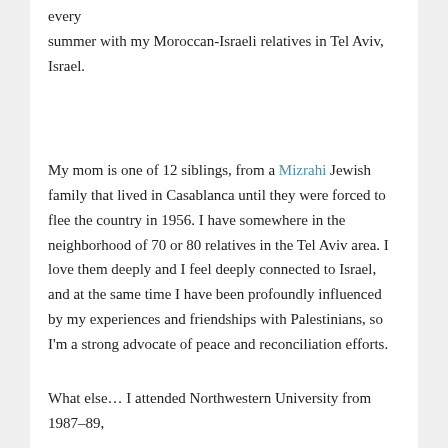every summer with my Moroccan-Israeli relatives in Tel Aviv, Israel.
My mom is one of 12 siblings, from a Mizrahi Jewish family that lived in Casablanca until they were forced to flee the country in 1956. I have somewhere in the neighborhood of 70 or 80 relatives in the Tel Aviv area. I love them deeply and I feel deeply connected to Israel, and at the same time I have been profoundly influenced by my experiences and friendships with Palestinians, so I'm a strong advocate of peace and reconciliation efforts.
What else… I attended Northwestern University from 1987–89,